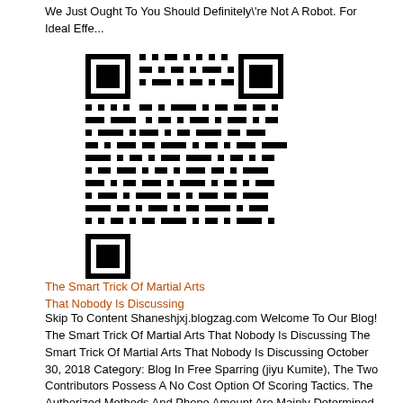We Just Ought To You Should Definitely're Not A Robot. For Ideal Effe...
[Figure (other): QR code image (top)]
The Smart Trick Of Martial Arts That Nobody Is Discussing
Skip To Content Shaneshjxj.blogzag.com Welcome To Our Blog! The Smart Trick Of Martial Arts That Nobody Is Discussing The Smart Trick Of Martial Arts That Nobody Is Discussing October 30, 2018 Category: Blog In Free Sparring (jiyu Kumite), The Two Contributors Possess A No Cost Option Of Scoring Tactics. The Authorized Methods And Phone Amount Are Mainly Determined By Sport Or Design And Style Group Policy, But Is Likely To Be Modified Based On The Age, Rank And Sexual Interco...
[Figure (other): QR code image (bottom)]